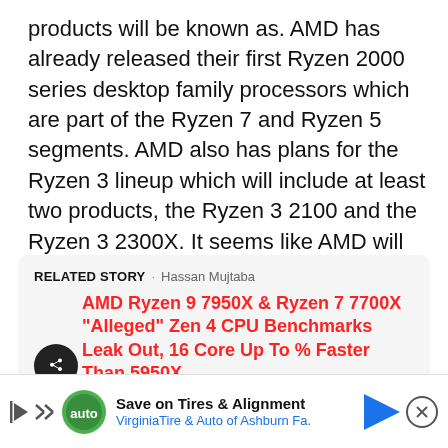products will be known as. AMD has already released their first Ryzen 2000 series desktop family processors which are part of the Ryzen 7 and Ryzen 5 segments. AMD also has plans for the Ryzen 3 lineup which will include at least two products, the Ryzen 3 2100 and the Ryzen 3 2300X. It seems like AMD will also offer a new Ryzen 5 part known as the Ryzen 5 2500X.
RELATED STORY · Hassan Mujtaba
AMD Ryzen 9 7950X & Ryzen 7 7700X "Alleged" Zen 4 CPU Benchmarks Leak Out, 16 Core Up To % Faster Than 5950X
[Figure (infographic): Advertisement banner: Save on Tires & Alignment - VirginiaTire & Auto of Ashburn Fa.]